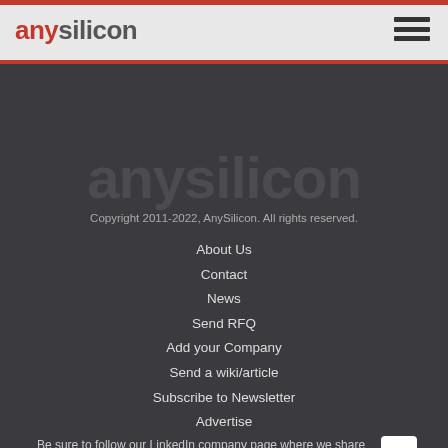anysilicon
[Figure (logo): anysilicon watermark logo in dark background]
Copyright 2011-2022, AnySilicon. All rights reserved.
About Us
Contact
News
Send RFQ
Add your Company
Send a wiki/article
Subscribe to Newsletter
Advertise
Be sure to follow our LinkedIn company page where we share our latest updates